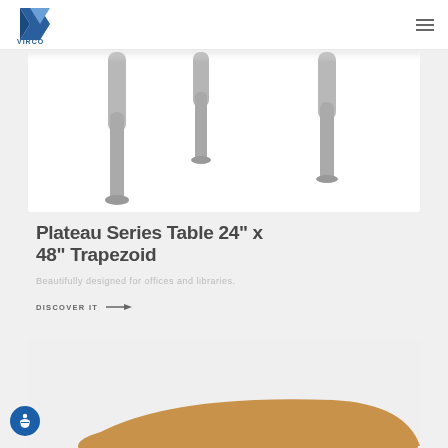[Figure (logo): Virco logo: blue geometric V shape with VIRCO text below]
[Figure (photo): Close-up of table legs (grey metal) against white background — Plateau Series table product shot]
Plateau Series Table 24" x 48" Trapezoid
Beautifully designed for offices and libraries.
DISCOVER IT →
[Figure (photo): Bottom portion of another product — warm wood-tone trapezoid tabletop visible from above]